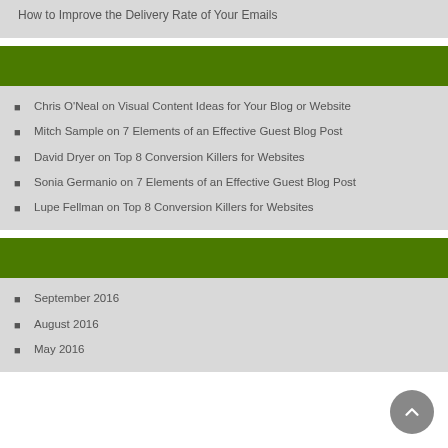How to Improve the Delivery Rate of Your Emails
Chris O'Neal on Visual Content Ideas for Your Blog or Website
Mitch Sample on 7 Elements of an Effective Guest Blog Post
David Dryer on Top 8 Conversion Killers for Websites
Sonia Germanio on 7 Elements of an Effective Guest Blog Post
Lupe Fellman on Top 8 Conversion Killers for Websites
September 2016
August 2016
May 2016